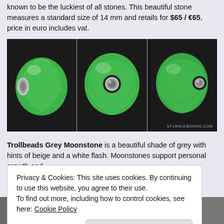known to be the luckiest of all stones. This beautiful stone measures a standard size of 14 mm and retails for $65 / €65, price in euro includes vat.
[Figure (photo): Three views of a green faceted gemstone bead (jade/aventurine) with silver core, shown against a dark background. Left view shows side profile, center shows front with silver tube hole, right shows three-quarter view with silver tube.]
Trollbeads Grey Moonstone is a beautiful shade of grey with hints of beige and a white flash. Moonstones support personal growth and wellbeing, and are said to bring good luck. Moonstones are...
Privacy & Cookies: This site uses cookies. By continuing to use this website, you agree to their use.
To find out more, including how to control cookies, see here: Cookie Policy
[Close and accept]
[Figure (photo): Partial bottom strip of images, partially obscured by cookie banner.]